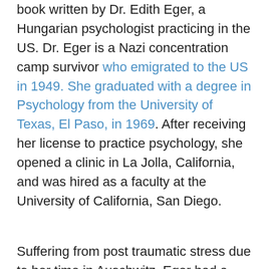book written by Dr. Edith Eger, a Hungarian psychologist practicing in the US. Dr. Eger is a Nazi concentration camp survivor who emigrated to the US in 1949. She graduated with a degree in Psychology from the University of Texas, El Paso, in 1969. After receiving her license to practice psychology, she opened a clinic in La Jolla, California, and was hired as a faculty at the University of California, San Diego.
Suffering from post traumatic stress due to her time in Auschwitz, Eger had a difficult few years in both post-war Hungary and the US. In The Choice, she says her outlook on life changed when a classmate...